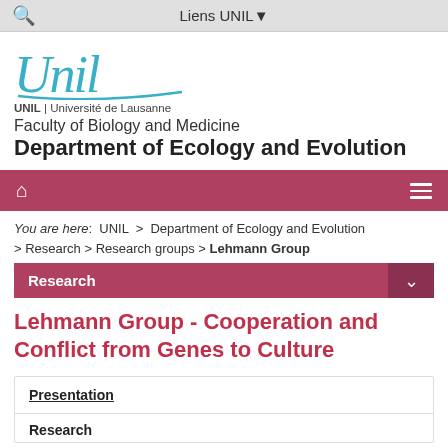Liens UNIL
[Figure (logo): UNIL Université de Lausanne handwritten-style logo in blue/teal]
UNIL | Université de Lausanne
Faculty of Biology and Medicine
Department of Ecology and Evolution
Research
You are here:  UNIL  >  Department of Ecology and Evolution  > Research > Research groups > Lehmann Group
Research
Lehmann Group - Cooperation and Conflict from Genes to Culture
Presentation
Research